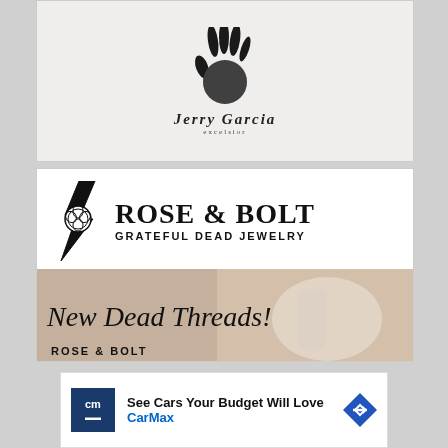[Figure (logo): Jerry Garcia Excelsior brand logo with black handprint and stylized signature text]
[Figure (logo): Rose and Bolt Grateful Dead Jewelry logo with lightning bolt and rose graphic, plus 'New Dead Threads! Rose & Bolt' promotional banner with hand holding knit hat]
[Figure (other): CarMax advertisement: 'See Cars Your Budget Will Love' with CarMax branding and blue diamond arrow icon]